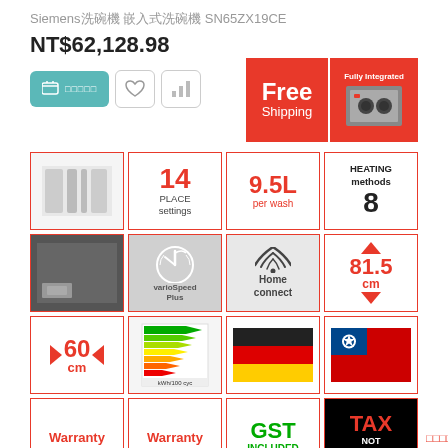Siemens洗碗機 嵌入式洗碗機 SN65ZX19CE
NT$62,128.98
[Figure (infographic): Product feature grid with icons and badges: cart button, wishlist, compare, Free Shipping badge, Fully Integrated oven badge, 14 place settings, 9.5L per wash, heating methods 8, varioSpeed Plus, Home connect, 81.5cm, 60cm, energy label, German flag, Taiwan flag, Warranty, Warranty, GST Included, TAX NOT INCLUDED]